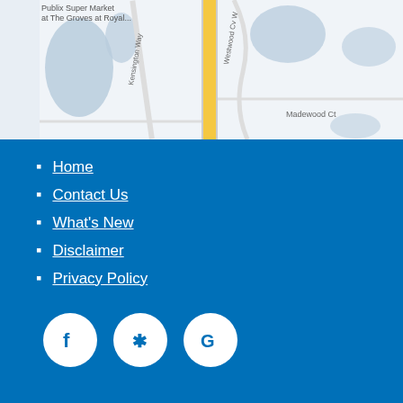[Figure (map): Google Maps screenshot showing Publix Super Market at The Groves at Royal, with roads including a yellow main road, Kensington Way, Westwood Cv W, and Madewood Ct]
Home
Contact Us
What's New
Disclaimer
Privacy Policy
[Figure (other): Social media icons: Facebook, Yelp, and Google, displayed as white icons on circular white backgrounds against blue footer]